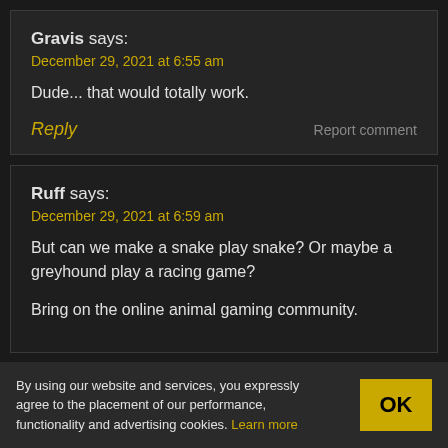Gravis says:
December 29, 2021 at 6:55 am
Dude... that would totally work.
Reply
Report comment
Ruff says:
December 29, 2021 at 6:59 am
But can we make a snake play snake? Or maybe a greyhound play a racing game?
Bring on the online animal gaming community.
By using our website and services, you expressly agree to the placement of our performance, functionality and advertising cookies. Learn more